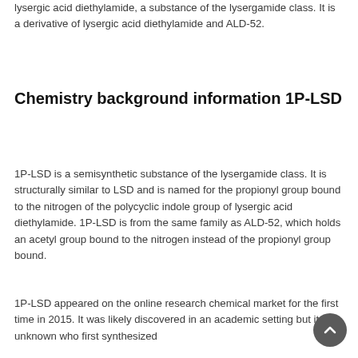lysergic acid diethylamide, a substance of the lysergamide class. It is a derivative of lysergic acid diethylamide and ALD-52.
Chemistry background information 1P-LSD
1P-LSD is a semisynthetic substance of the lysergamide class. It is structurally similar to LSD and is named for the propionyl group bound to the nitrogen of the polycyclic indole group of lysergic acid diethylamide. 1P-LSD is from the same family as ALD-52, which holds an acetyl group bound to the nitrogen instead of the propionyl group bound.
1P-LSD appeared on the online research chemical market for the first time in 2015. It was likely discovered in an academic setting but it is unknown who first synthesized